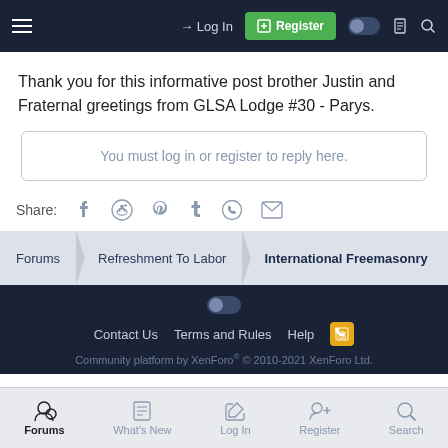Log In | Register
Thank you for this informative post brother Justin and Fraternal greetings from GLSA Lodge #30 - Parys.
You must log in or register to reply here.
Share:
Forums > Refreshment To Labor > International Freemasonry
Contact Us   Terms and Rules   Help   Community platform by XenForo® © 2010-2021 XenForo Ltd.
Forums   What's New   Log In   Register   Search